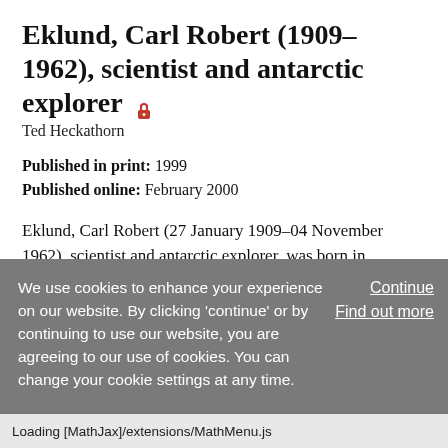Eklund, Carl Robert (1909–1962), scientist and antarctic explorer 🔒
Ted Heckathorn
Published in print: 1999
Published online: February 2000
Eklund, Carl Robert (27 January 1909–04 November 1962), scientist and antarctic explorer, was born in Tomahawk, Wisconsin, the son of John Eklund, a carpenter, and Maria Olson. Both his parents were immigrants from Sweden. Eklund was an outstanding football and basketball player at Tomahawk High School. Later he starred in football at
We use cookies to enhance your experience on our website. By clicking 'continue' or by continuing to use our website, you are agreeing to our use of cookies. You can change your cookie settings at any time.
Loading [MathJax]/extensions/MathMenu.js